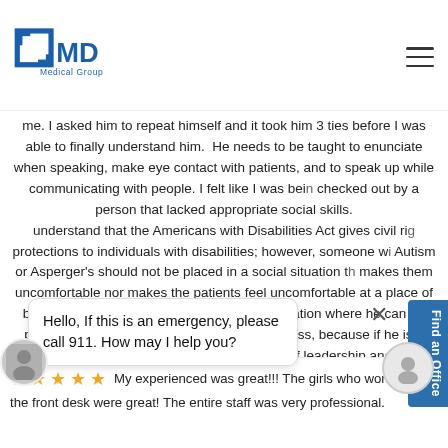[Figure (logo): GMD Medical Group logo with blue cross/square icon and blue MD text]
me. I asked him to repeat himself and it took him 3 ties before I was able to finally understand him. He needs to be taught to enunciate when speaking, make eye contact with patients, and to speak up while communicating with people. I felt like I was being checked out by a person that lacked appropriate social skills. I understand that the Americans with Disabilities Act gives civil rights protections to individuals with disabilities; however, someone with Autism or Asperger's should not be placed in a social situation that makes them uncomfortable nor makes the patients feel uncomfortable at a place of business. Please place this individual in a location where he can be productive while not affecting the clinic business, because if he is a director of some sort then he is a reflection of leadership and that doesn't speak highly at all. To the rest of the staff and management I love them, but one individual will require me to give 1 star.
Find an Office
Hello, If this is an emergency, please call 911. How may I help you?
My experienced was great!!! The girls who work the front desk were great! The entire staff was very professional.